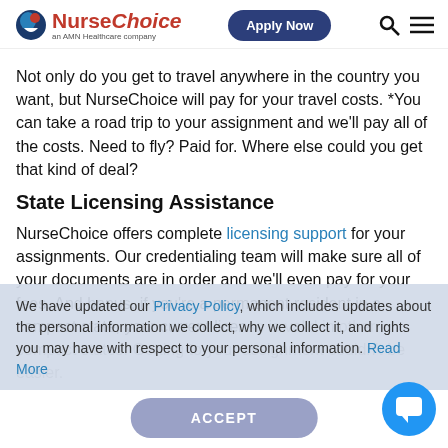NurseChoice — an AMN Healthcare company | Apply Now
Not only do you get to travel anywhere in the country you want, but NurseChoice will pay for your travel costs. *You can take a road trip to your assignment and we'll pay all of the costs. Need to fly? Paid for. Where else could you get that kind of deal?
State Licensing Assistance
NurseChoice offers complete licensing support for your assignments. Our credentialing team will make sure all of your documents are in order and we'll even pay for your fees. And bonus, if you're a permanent resident in a compact state, your current license is valid in other compact states. Getting to your assignment couldn't be easier.
We have updated our Privacy Policy, which includes updates about the personal information we collect, why we collect it, and rights you may have with respect to your personal information. Read More
ACCEPT